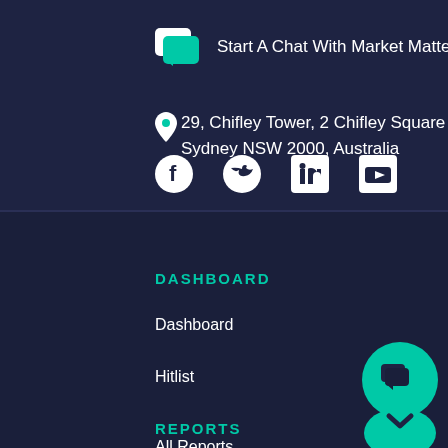Start A Chat With Market Matters
29, Chifley Tower, 2 Chifley Square Sydney NSW 2000, Australia
[Figure (other): Social media icons: Facebook, Twitter, LinkedIn, YouTube]
DASHBOARD
Dashboard
Hitlist
REPORTS
All Reports
[Figure (other): Teal chat widget icon at bottom right corner]